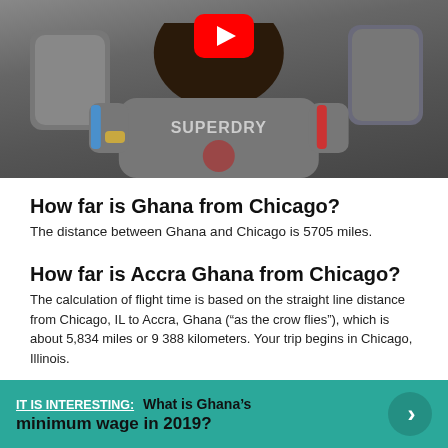[Figure (screenshot): YouTube video thumbnail showing a man sitting on a couch wearing a Superdry t-shirt, with a YouTube play button overlay at the top center.]
How far is Ghana from Chicago?
The distance between Ghana and Chicago is 5705 miles.
How far is Accra Ghana from Chicago?
The calculation of flight time is based on the straight line distance from Chicago, IL to Accra, Ghana (“as the crow flies”), which is about 5,834 miles or 9 388 kilometers. Your trip begins in Chicago, Illinois.
IT IS INTERESTING:  What is Ghana’s minimum wage in 2019?